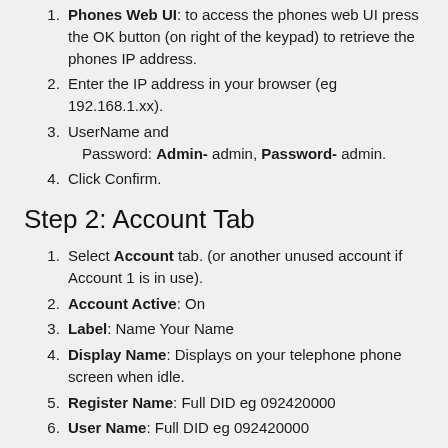1. Phones Web UI: to access the phones web UI press the OK button (on right of the keypad) to retrieve the phones IP address.
2. Enter the IP address in your browser (eg 192.168.1.xx).
3. UserName and Password: Admin- admin, Password- admin.
4. Click Confirm.
Step 2: Account Tab
1. Select Account tab. (or another unused account if Account 1 is in use).
2. Account Active: On
3. Label: Name Your Name
4. Display Name: Displays on your telephone phone screen when idle.
5. Register Name: Full DID eg 092420000
6. User Name: Full DID eg 092420000